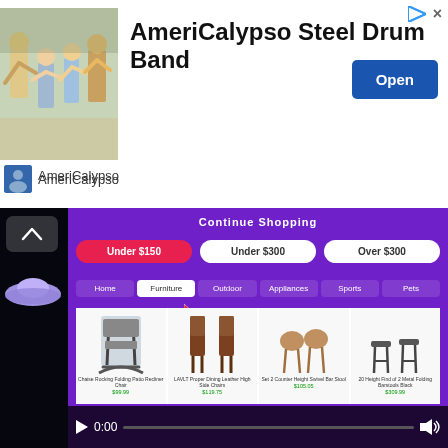[Figure (screenshot): Advertisement banner for AmeriCalypso Steel Drum Band with photo of dancers, title text, and Open button]
AmeriCalypso
[Figure (screenshot): Video player showing a shopping website with furniture items, price filter buttons (Under $150, Under $300, Over $300), category navigation (Home, Furniture, Outdoor, Appliances, Sports, Pets), and furniture product thumbnails. Time shows 0:00.]
How Will I Know If My Grass Is Too Wet For My Mower?
Grass is typically wet in the morning after dew has formed, but